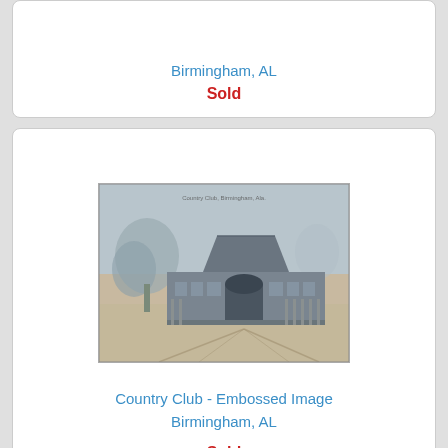Birmingham, AL
Sold
[Figure (photo): Embossed postcard image of a Country Club building in Birmingham, AL. The image shows a large building with an arched central entrance, flanked by wings, with trees on the left side. The image has a sepia/blue-grey tone typical of embossed postcards. Text at top reads 'Country Club Birmingham, Ala.']
Country Club - Embossed Image
Birmingham, AL
Sold